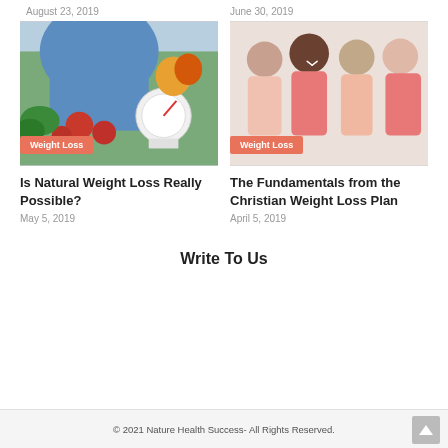August 23, 2019
June 30, 2019
[Figure (photo): Person in blue sweater chopping vegetables with a kitchen scale and bell peppers visible; Weight Loss category label overlay]
[Figure (photo): Group of four women smiling and embracing; Weight Loss category label overlay]
Is Natural Weight Loss Really Possible?
The Fundamentals from the Christian Weight Loss Plan
May 5, 2019
April 5, 2019
Write To Us
© 2021 Nature Health Success- All Rights Reserved.